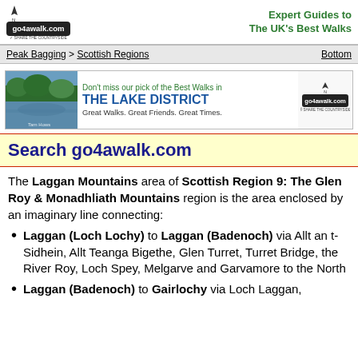go4awalk.com | Expert Guides to The UK's Best Walks
Peak Bagging > Scottish Regions | Bottom
[Figure (illustration): Advertisement banner for go4awalk.com featuring The Lake District with lake photo, text: Don't miss our pick of the Best Walks in THE LAKE DISTRICT Great Walks. Great Friends. Great Times.]
Search go4awalk.com
The Laggan Mountains area of Scottish Region 9: The Glen Roy & Monadhliath Mountains region is the area enclosed by an imaginary line connecting:
Laggan (Loch Lochy) to Laggan (Badenoch) via Allt an t-Sidhein, Allt Teanga Bigethe, Glen Turret, Turret Bridge, the River Roy, Loch Spey, Melgarve and Garvamore to the North
Laggan (Badenoch) to Gairlochy via Loch Laggan,